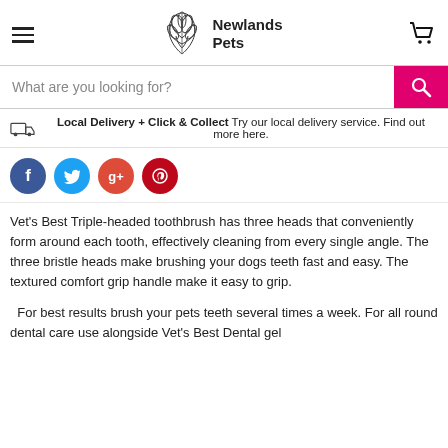Newlands Pets — navigation header with logo, hamburger menu, and cart icon
[Figure (screenshot): Search bar with placeholder 'What are you looking for?' and a pink search button]
Local Delivery + Click & Collect Try our local delivery service. Find out more here.
[Figure (infographic): Social media share buttons: Facebook, Twitter, Google+, Pinterest]
Vet's Best Triple-headed toothbrush has three heads that conveniently form around each tooth, effectively cleaning from every single angle. The three bristle heads make brushing your dogs teeth fast and easy. The textured comfort grip handle make it easy to grip.
For best results brush your pets teeth several times a week. For all round dental care use alongside Vet's Best Dental gel